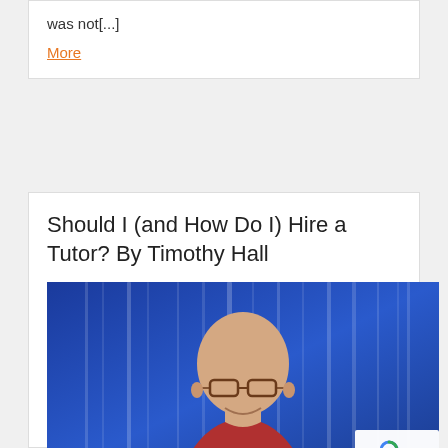was not[...]
More
Should I (and How Do I) Hire a Tutor? By Timothy Hall
[Figure (photo): Headshot of a bald middle-aged man wearing glasses and a red shirt, photographed in front of a blue waterfall background.]